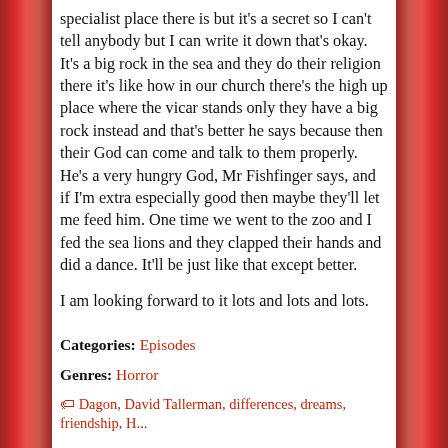specialist place there is but it's a secret so I can't tell anybody but I can write it down that's okay. It's a big rock in the sea and they do their religion there it's like how in our church there's the high up place where the vicar stands only they have a big rock instead and that's better he says because then their God can come and talk to them properly. He's a very hungry God, Mr Fishfinger says, and if I'm extra especially good then maybe they'll let me feed him. One time we went to the zoo and I fed the sea lions and they clapped their hands and did a dance. It'll be just like that except better.
I am looking forward to it lots and lots and lots.
Categories: Episodes
Genres: Horror
Dagon, David Tallerman, differences, dreams, friendship, H...